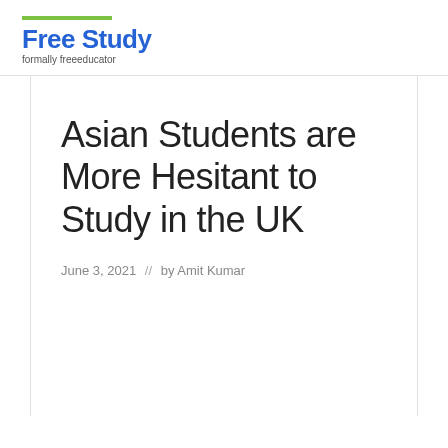Free Study
formally freeeducator
Asian Students are More Hesitant to Study in the UK
June 3, 2021  //  by Amit Kumar